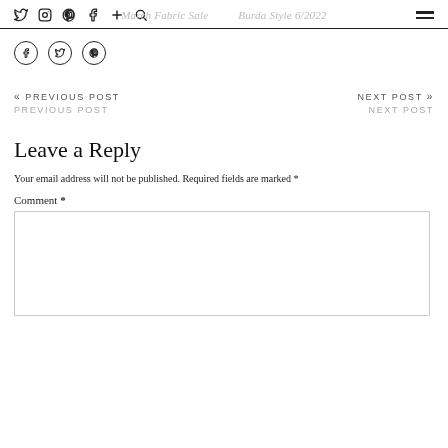March Fabric Sale | Burda Style 6/2022
Social share icons: Facebook, Twitter, Pinterest
« PREVIOUS POST
PREVIOUS POST
NEXT POST »
NEXT POST
Leave a Reply
Your email address will not be published. Required fields are marked *
Comment *